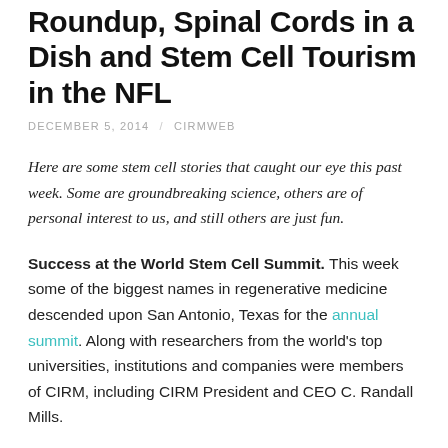Our Eye: Stem Cell Summit Roundup, Spinal Cords in a Dish and Stem Cell Tourism in the NFL
DECEMBER 5, 2014 / CIRMWEB
Here are some stem cell stories that caught our eye this past week. Some are groundbreaking science, others are of personal interest to us, and still others are just fun.
Success at the World Stem Cell Summit. This week some of the biggest names in regenerative medicine descended upon San Antonio, Texas for the annual summit. Along with researchers from the world's top universities, institutions and companies were members of CIRM, including CIRM President and CEO C. Randall Mills.